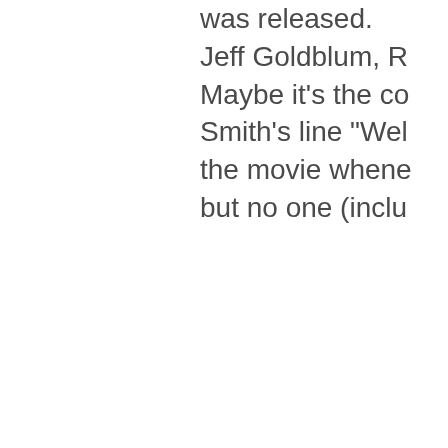was released. Jeff Goldblum, R Maybe it's the co Smith's line "Wel the movie whene but no one (inclu